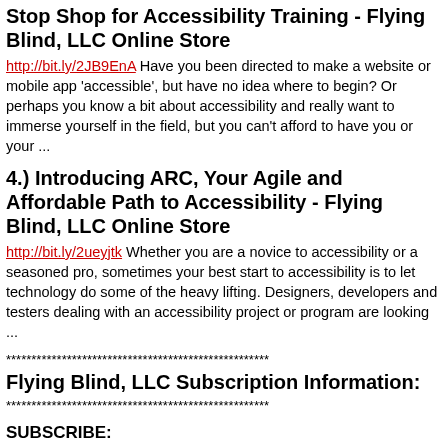Stop Shop for Accessibility Training - Flying Blind, LLC Online Store
http://bit.ly/2JB9EnA Have you been directed to make a website or mobile app 'accessible', but have no idea where to begin? Or perhaps you know a bit about accessibility and really want to immerse yourself in the field, but you can't afford to have you or your ...
4.) Introducing ARC, Your Agile and Affordable Path to Accessibility - Flying Blind, LLC Online Store
http://bit.ly/2ueyjtk Whether you are a novice to accessibility or a seasoned pro, sometimes your best start to accessibility is to let technology do some of the heavy lifting. Designers, developers and testers dealing with an accessibility project or program are looking ...
****************************************************
Flying Blind, LLC Subscription Information:
****************************************************
SUBSCRIBE:
Do you, a friend, or colleague wish to receive Flying Blind, LLC Publications? If so, please use or pass along our CAPTCHA-